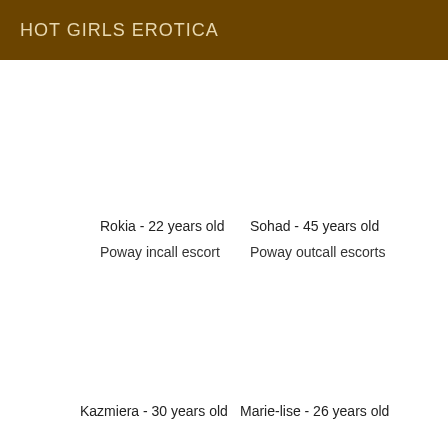HOT GIRLS EROTICA
Rokia - 22 years old
Poway incall escort
Sohad - 45 years old
Poway outcall escorts
Kazmiera - 30 years old
Marie-lise - 26 years old